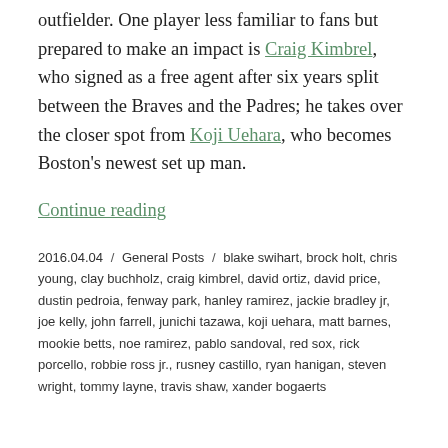outfielder. One player less familiar to fans but prepared to make an impact is Craig Kimbrel, who signed as a free agent after six years split between the Braves and the Padres; he takes over the closer spot from Koji Uehara, who becomes Boston's newest set up man.
Continue reading
2016.04.04 / General Posts / blake swihart, brock holt, chris young, clay buchholz, craig kimbrel, david ortiz, david price, dustin pedroia, fenway park, hanley ramirez, jackie bradley jr, joe kelly, john farrell, junichi tazawa, koji uehara, matt barnes, mookie betts, noe ramirez, pablo sandoval, red sox, rick porcello, robbie ross jr., rusney castillo, ryan hanigan, steven wright, tommy layne, travis shaw, xander bogaerts